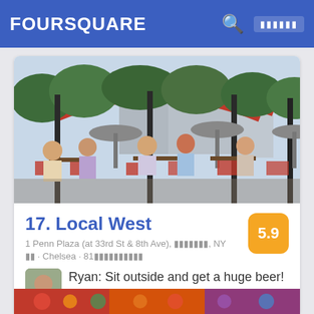FOURSQUARE
[Figure (photo): Outdoor restaurant/bar patio with people dining at tables under trees and umbrella heaters. Red structural elements visible in background along with buildings.]
17. Local West
1 Penn Plaza (at 33rd St & 8th Ave), ███████, NY
██ · Chelsea · 81██████████
Ryan: Sit outside and get a huge beer!
[Figure (photo): Partial bottom image strip showing colorful food or objects]